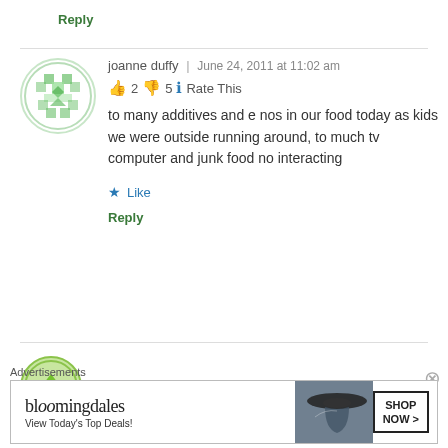Reply
joanne duffy | June 24, 2011 at 11:02 am
👍 2 👎 5 ℹ Rate This
to many additives and e nos in our food today as kids we were outside running around, to much tv computer and junk food no interacting
★ Like
Reply
Advertisements
[Figure (illustration): Bloomingdales advertisement banner with logo, woman in hat, and Shop Now button]